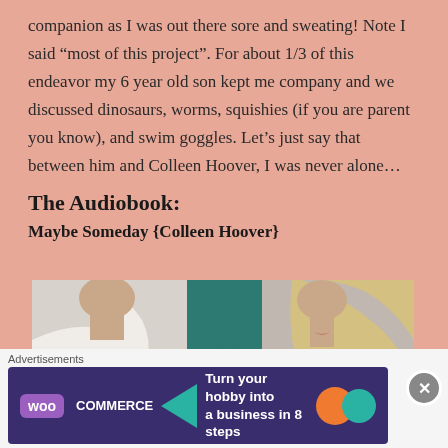companion as I was out there sore and sweating! Note I said “most of this project”. For about 1/3 of this endeavor my 6 year old son kept me company and we discussed dinosaurs, worms, squishies (if you are parent you know), and swim goggles. Let’s just say that between him and Colleen Hoover, I was never alone…
The Audiobook:
Maybe Someday {Colleen Hoover}
[Figure (photo): Book cover or promotional photo showing close-up of two people, a man in white and a woman in teal/green with blonde hair]
Advertisements
[Figure (screenshot): WooCommerce advertisement banner: Turn your hobby into a business in 8 steps]